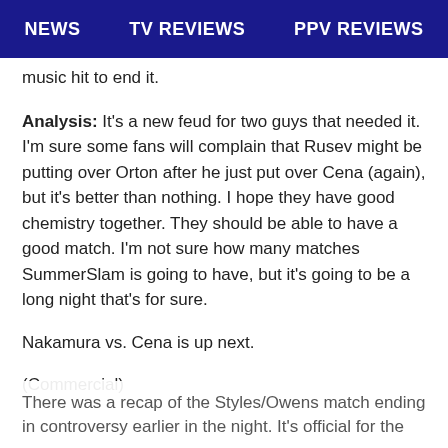NEWS   TV REVIEWS   PPV REVIEWS
music hit to end it.
Analysis: It’s a new feud for two guys that needed it. I’m sure some fans will complain that Rusev might be putting over Orton after he just put over Cena (again), but it’s better than nothing. I hope they have good chemistry together. They should be able to have a good match. I’m not sure how many matches SummerSlam is going to have, but it’s going to be a long night that’s for sure.
Nakamura vs. Cena is up next.
(Commercial)
There was a recap of the Styles/Owens match ending in controversy earlier in the night. It’s official for the